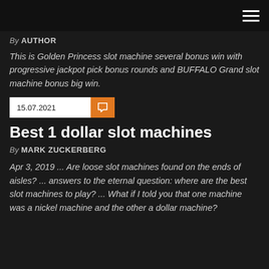AUTHOR
This is Golden Princess slot machine several bonus win with progressive jackpot pick bonus rounds and BUFFALO Grand slot machine bonus big win.
15.07.2021
Best 1 dollar slot machines
By MARK ZUCKERBERG
Apr 3, 2019 ... Are loose slot machines found on the ends of aisles? ... answers to the eternal question: where are the best slot machines to play? ... What if I told you that one machine was a nickel machine and the other a dollar machine?